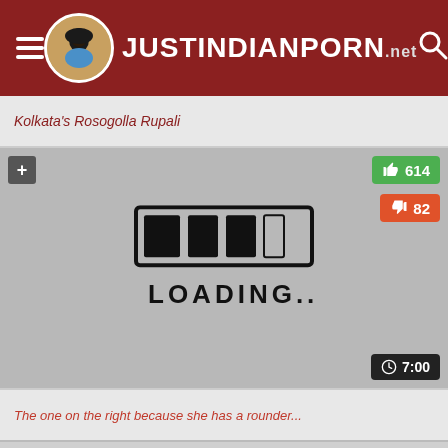JUSTINDIANPORN.net
Kolkata's Rosogolla Rupali
[Figure (screenshot): Video thumbnail showing a loading screen with a progress bar graphic and text LOADING... plus like count 614, dislike count 82, duration 7:00]
The one on the right because she has a rounder...